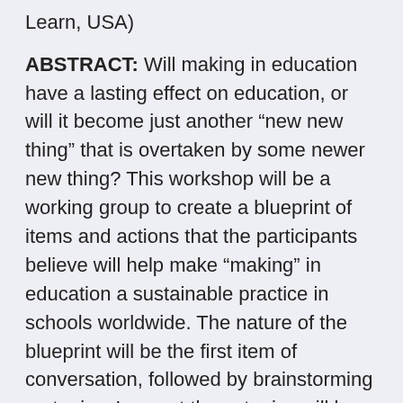Learn, USA)
ABSTRACT: Will making in education have a lasting effect on education, or will it become just another “new new thing” that is overtaken by some newer new thing? This workshop will be a working group to create a blueprint of items and actions that the participants believe will help make “making” in education a sustainable practice in schools worldwide. The nature of the blueprint will be the first item of conversation, followed by brainstorming on topics. I expect these topics will be things like: classroom practices, research needed, professional development, teacher certification, resources, policies,